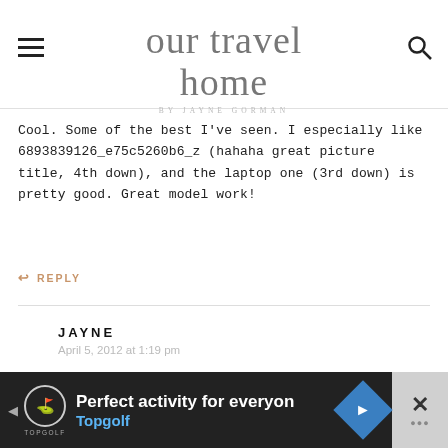our travel home BY JAYNE GORMAN
Cool. Some of the best I've seen. I especially like 6893839126_e75c5260b6_z (hahaha great picture title, 4th down), and the laptop one (3rd down) is pretty good. Great model work!
REPLY
JAYNE
April 5, 2012 at 1:19 pm
Ha the model is Taggio. She worked well with the art work!
[Figure (screenshot): Advertisement banner at the bottom: Topgolf ad with text 'Perfect activity for everyone' and 'Topgolf' in blue, with a Topgolf logo, a blue diamond navigation button, and a close button with dots.]